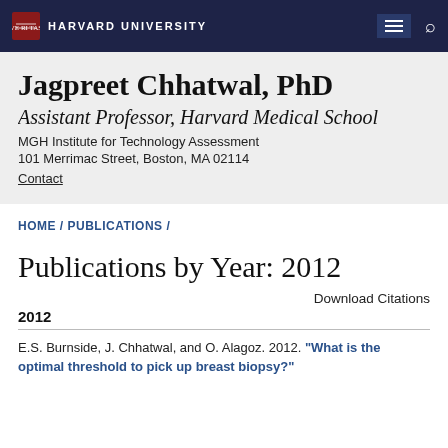HARVARD UNIVERSITY
Jagpreet Chhatwal, PhD
Assistant Professor, Harvard Medical School
MGH Institute for Technology Assessment
101 Merrimac Street, Boston, MA 02114
Contact
HOME / PUBLICATIONS /
Publications by Year: 2012
Download Citations
2012
E.S. Burnside, J. Chhatwal, and O. Alagoz. 2012. "What is the optimal threshold to pick up breast biopsy?"